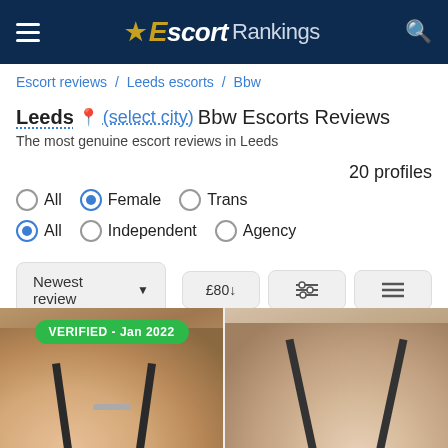Escort Rankings
Escort reviews / Leeds escorts / Bbw
Leeds (select city) Bbw Escorts Reviews
The most genuine escort reviews in Leeds
20 profiles
All   Female   Trans
All   Independent   Agency
Newest review   £80↓
[Figure (photo): Two escort profile photos side by side. Left photo shows a woman in dark straps with a VERIFIED - Jan 2022 badge. Right photo shows another woman in dark straps.]